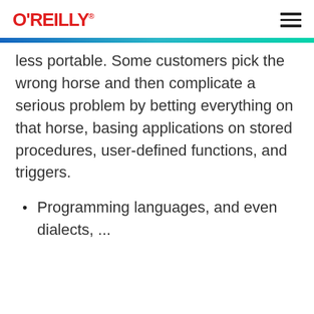O'REILLY
less portable. Some customers pick the wrong horse and then complicate a serious problem by betting everything on that horse, basing applications on stored procedures, user-defined functions, and triggers.
Programming languages, and even dialects, ...